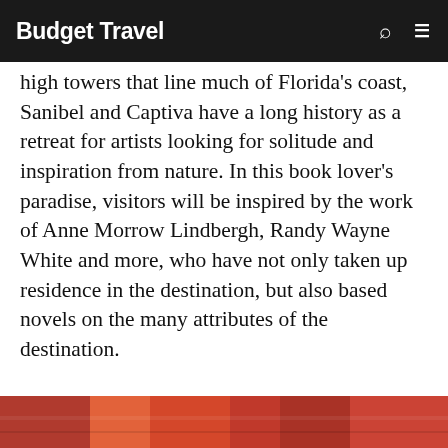Budget Travel
high towers that line much of Florida's coast, Sanibel and Captiva have a long history as a retreat for artists looking for solitude and inspiration from nature. In this book lover's paradise, visitors will be inspired by the work of Anne Morrow Lindbergh, Randy Wayne White and more, who have not only taken up residence in the destination, but also based novels on the many attributes of the destination.
Below is a book lover's guide to visiting Fort Myers' islands, beaches and neighborhoods..
[Figure (photo): Partial view of a colorful image strip at the bottom of the page, appearing to show books or related items with warm red, orange tones]